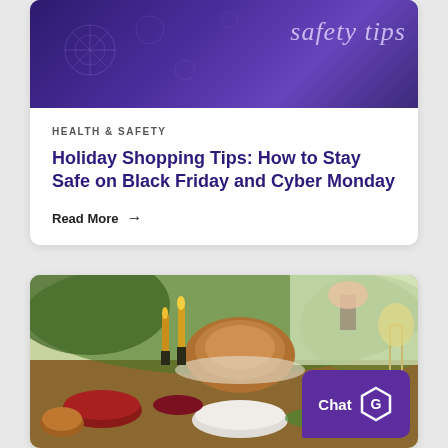[Figure (photo): Purple/dark blue decorative holiday background with 'safety tips' in cursive script overlay]
HEALTH & SAFETY
Holiday Shopping Tips: How to Stay Safe on Black Friday and Cyber Monday
Read More →
[Figure (photo): Holiday feast spread on a dining table with roasted turkey, candles, side dishes, and a chat widget overlay in the bottom right corner showing 'Chat' with a shield/G logo]